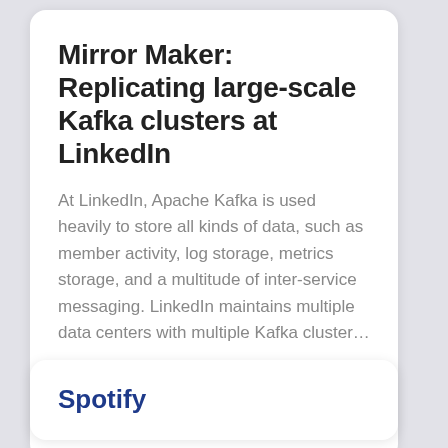Mirror Maker: Replicating large-scale Kafka clusters at LinkedIn
At LinkedIn, Apache Kafka is used heavily to store all kinds of data, such as member activity, log storage, metrics storage, and a multitude of inter-service messaging. LinkedIn maintains multiple data centers with multiple Kafka cluster…
pinot
kafka
open source
Apr 11, 2022
Spotify